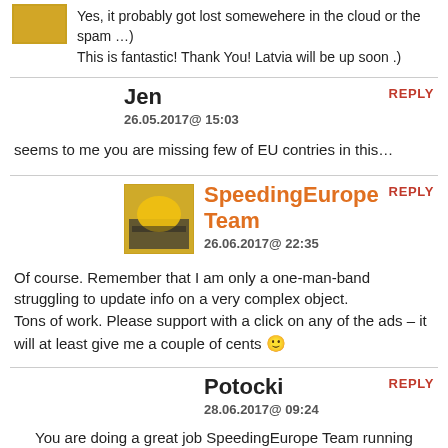Yes, it probably got lost somewehere in the cloud or the spam …)
This is fantastic! Thank You! Latvia will be up soon .)
REPLY
Jen
26.05.2017@ 15:03
seems to me you are missing few of EU contries in this…
REPLY
SpeedingEurope Team
26.06.2017@ 22:35
Of course. Remember that I am only a one-man-band struggling to update info on a very complex object.
Tons of work. Please support with a click on any of the ads – it will at least give me a couple of cents 🙂
REPLY
Potocki
28.06.2017@ 09:24
You are doing a great job SpeedingEurope Team running